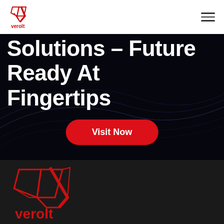[Figure (logo): Verolt logo small in navbar - red triangular shield icon with verolt text]
Solutions - Future Ready At Fingertips
Visit Now
[Figure (logo): Verolt large red logo with shield/wing icon and verolt text below, on dark background]